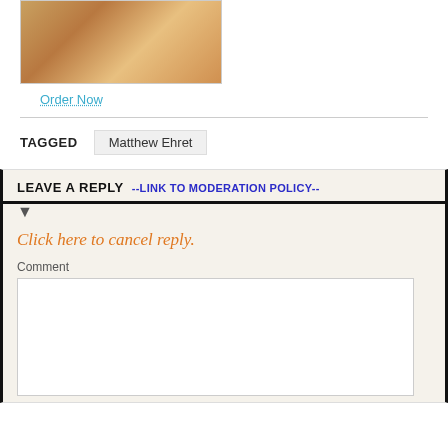[Figure (photo): Book cover image shown partially at top of page]
Order Now
TAGGED   Matthew Ehret
LEAVE A REPLY --LINK TO MODERATION POLICY--
Click here to cancel reply.
Comment